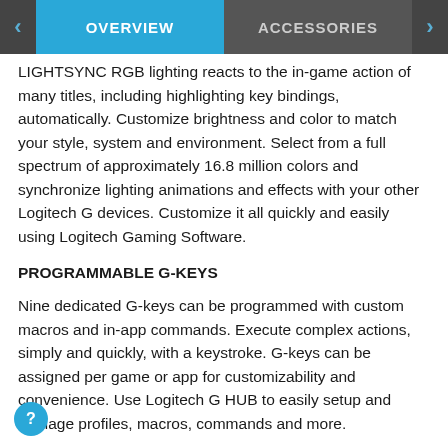OVERVIEW | ACCESSORIES
LIGHTSYNC RGB lighting reacts to the in-game action of many titles, including highlighting key bindings, automatically. Customize brightness and color to match your style, system and environment. Select from a full spectrum of approximately 16.8 million colors and synchronize lighting animations and effects with your other Logitech G devices. Customize it all quickly and easily using Logitech Gaming Software.
PROGRAMMABLE G-KEYS
Nine dedicated G-keys can be programmed with custom macros and in-app commands. Execute complex actions, simply and quickly, with a keystroke. G-keys can be assigned per game or app for customizability and convenience. Use Logitech G HUB to easily setup and manage profiles, macros, commands and more.
ARX SECOND SCREEN
Arx Control app integrates second-screen capability into G910. Use your smartphone or tablet to display in-game info, vital system statistics. Even add in-game controls for supported games. The adjustable smart dock in G910